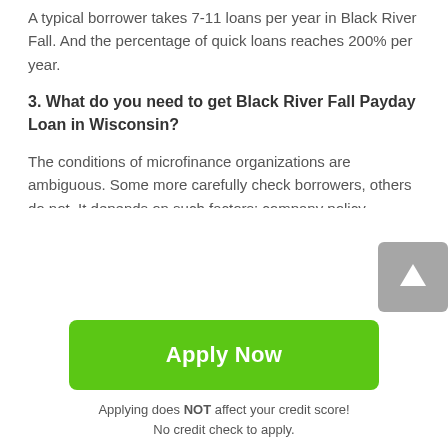A typical borrower takes 7-11 loans per year in Black River Fall. And the percentage of quick loans reaches 200% per year.
3. What do you need to get Black River Fall Payday Loan in Wisconsin?
The conditions of microfinance organizations are ambiguous. Some more carefully check borrowers, others do not. It depends on such factors: company policy, reliability, market stability. But such financial institutions try to meet the needs of the clientele as much as possible. In essence, they do not require a large package of information, making credit available for different social
Apply Now
Applying does NOT affect your credit score!
No credit check to apply.